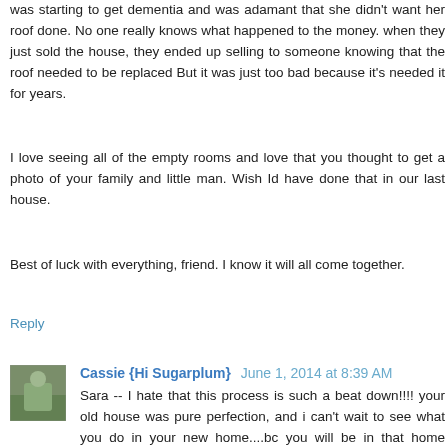was starting to get dementia and was adamant that she didn't want her roof done. No one really knows what happened to the money. when they just sold the house, they ended up selling to someone knowing that the roof needed to be replaced But it was just too bad because it's needed it for years.
I love seeing all of the empty rooms and love that you thought to get a photo of your family and little man. Wish Id have done that in our last house.
Best of luck with everything, friend. I know it will all come together.
Reply
Cassie {Hi Sugarplum} June 1, 2014 at 8:39 AM
Sara -- I hate that this process is such a beat down!!!! your old house was pure perfection, and i can't wait to see what you do in your new home....bc you will be in that home SOON! and all this will just be a 'funny hiccup' ;)